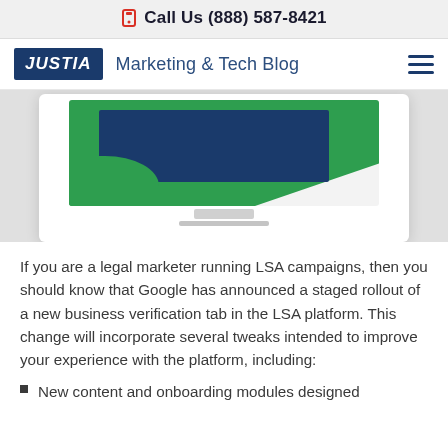Call Us (888) 587-8421
JUSTIA Marketing & Tech Blog
[Figure (illustration): Illustration of a desktop computer monitor showing a green and dark blue folded paper/card graphic on screen, displayed inside a white card with shadow on a light gray background.]
If you are a legal marketer running LSA campaigns, then you should know that Google has announced a staged rollout of a new business verification tab in the LSA platform. This change will incorporate several tweaks intended to improve your experience with the platform, including:
New content and onboarding modules designed